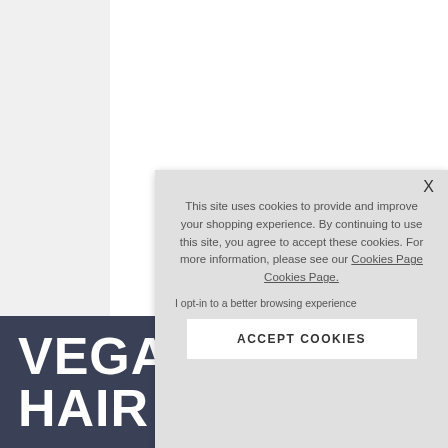[Figure (screenshot): Website screenshot showing a light grey cookie consent modal popup over a white page background. Bottom left shows a dark navy banner with large white bold text 'VEGAN HAIR'. Left side has a light grey sidebar with an upward arrow and rotated 'TOP' navigation label.]
This site uses cookies to provide and improve your shopping experience. By continuing to use this site, you agree to accept these cookies. For more information, please see our Cookies Page Cookies Page.
I opt-in to a better browsing experience
ACCEPT COOKIES